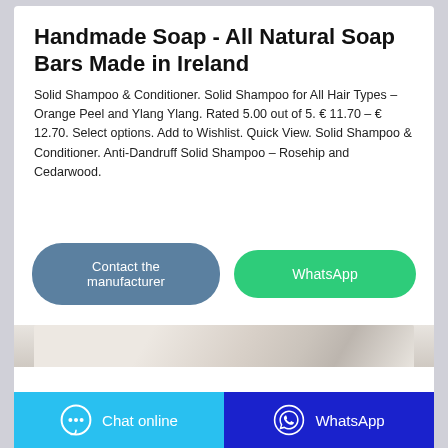Handmade Soap - All Natural Soap Bars Made in Ireland
Solid Shampoo & Conditioner. Solid Shampoo for All Hair Types – Orange Peel and Ylang Ylang. Rated 5.00 out of 5. € 11.70 – € 12.70. Select options. Add to Wishlist. Quick View. Solid Shampoo & Conditioner. Anti-Dandruff Solid Shampoo – Rosehip and Cedarwood.
[Figure (screenshot): Two action buttons: 'Contact the manufacturer' (blue-grey, rounded) and 'WhatsApp' (green, rounded)]
[Figure (photo): Partial image of handmade soap bars, light beige/cream colored]
[Figure (infographic): Bottom bar with 'Chat online' button (light blue with chat bubble icon) on the left and 'WhatsApp' button (dark blue with WhatsApp logo) on the right]